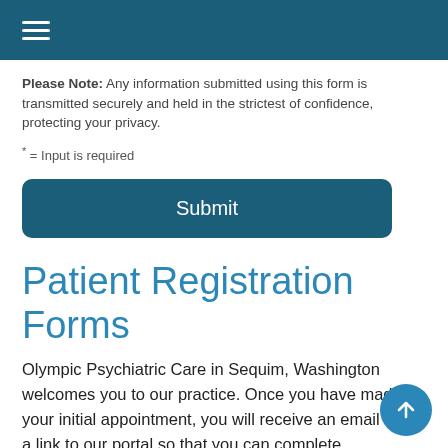Please Note: Any information submitted using this form is transmitted securely and held in the strictest of confidence, protecting your privacy.
* = Input is required
Submit
Patient Registration Forms
Olympic Psychiatric Care in Sequim, Washington welcomes you to our practice. Once you have made your initial appointment, you will receive an email with a link to our portal so that you can complete